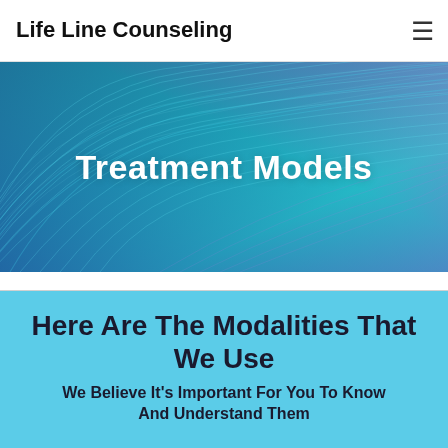Life Line Counseling
[Figure (illustration): Abstract blue and teal feather-like waves background with purple accents, used as hero banner image]
Treatment Models
Here Are The Modalities That We Use
We Believe It's Important For You To Know And Understand Them